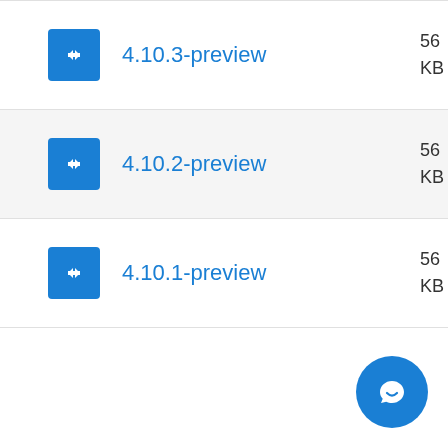4.10.3-preview
4.10.2-preview
4.10.1-preview
[Figure (illustration): Blue circular chat support button with speech bubble icon, bottom right corner]